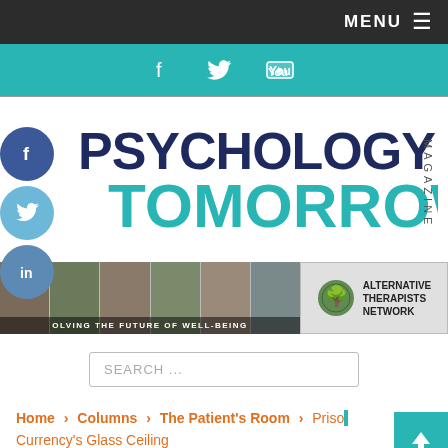MENU ☰
[Figure (other): Teal social media bar with Facebook, Twitter, and YouTube icons]
[Figure (logo): Psychology Tomorrow Magazine logo — PSYCHOLOGY in dark navy bold, TOMORROW in teal bold, MAGAZINE vertically on right]
[Figure (other): Banner strip: left side shows collage of therapy images with text 'OLVING THE FUTURE OF WELL-BEING'; right side shows Alternative Therapists Network logo]
SEARCH ...
Home > Columns > The Patient's Room > Prison Currency's Glass Ceiling